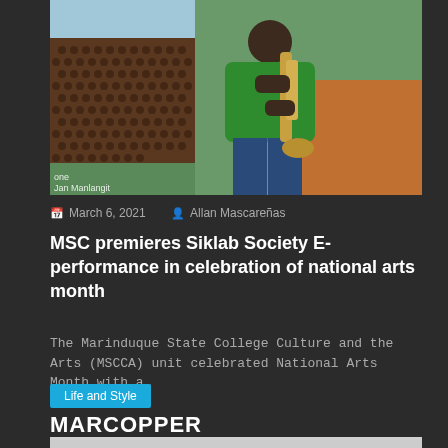[Figure (photo): Person in green polo shirt playing a saxophone, standing in front of acoustic foam panels. Watermark text 'Jan Manlangit' visible in lower left.]
March 6, 2021  Allan Mascareñas
MSC premieres Siklab Society E-performance in celebration of national arts month
The Marinduque State College Culture and the Arts (MSCCA) unit celebrated National Arts Month with a…
Life and Style
MARCOPPER
[Figure (photo): Partial view of a photo at the bottom of the page, mostly cropped, showing a light gray/white background.]